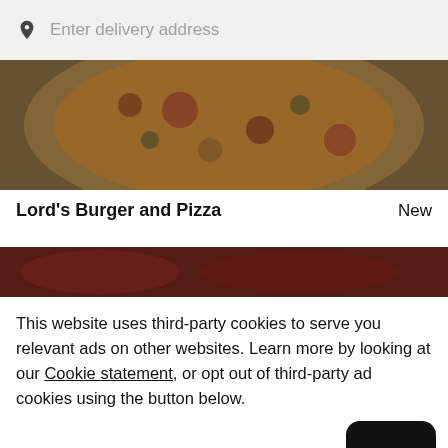Enter delivery address
[Figure (photo): Top-down view of pizza with toppings]
Lord's Burger and Pizza
New
[Figure (photo): Partial view of food items in red tones]
This website uses third-party cookies to serve you relevant ads on other websites. Learn more by looking at our Cookie statement, or opt out of third-party ad cookies using the button below.
Opt out
OK